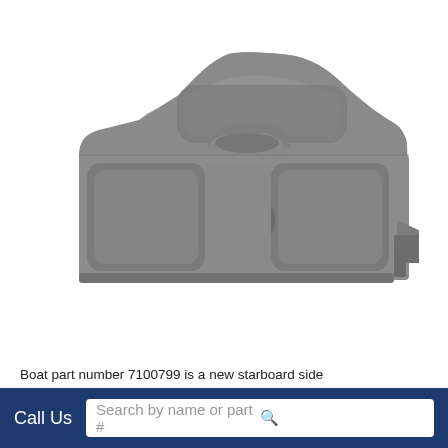[Figure (photo): A gray plastic boat part (starboard side component, part number 7100799) viewed from the front/top. The part has a curved back rest shape at the top, two recessed rectangular panels on the lower left and right sides, a central keyhole/teardrop-shaped cutout in the middle, and a protruding ledge on the right side. The entire piece is molded gray plastic.]
Boat part number 7100799 is a new starboard side
Call Us
Search by name or part #